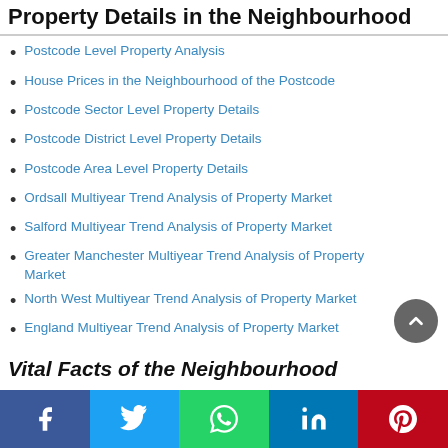Property Details in the Neighbourhood
Postcode Level Property Analysis
House Prices in the Neighbourhood of the Postcode
Postcode Sector Level Property Details
Postcode District Level Property Details
Postcode Area Level Property Details
Ordsall Multiyear Trend Analysis of Property Market
Salford Multiyear Trend Analysis of Property Market
Greater Manchester Multiyear Trend Analysis of Property Market
North West Multiyear Trend Analysis of Property Market
England Multiyear Trend Analysis of Property Market
Vital Facts of the Neighbourhood